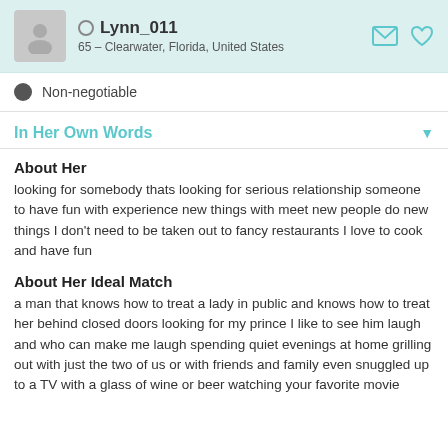Lynn_011 — 65 – Clearwater, Florida, United States
Non-negotiable
In Her Own Words
About Her
looking for somebody thats looking for serious relationship someone to have fun with experience new things with meet new people do new things I don't need to be taken out to fancy restaurants I love to cook and have fun
About Her Ideal Match
a man that knows how to treat a lady in public and knows how to treat her behind closed doors looking for my prince I like to see him laugh and who can make me laugh spending quiet evenings at home grilling out with just the two of us or with friends and family even snuggled up to a TV with a glass of wine or beer watching your favorite movie